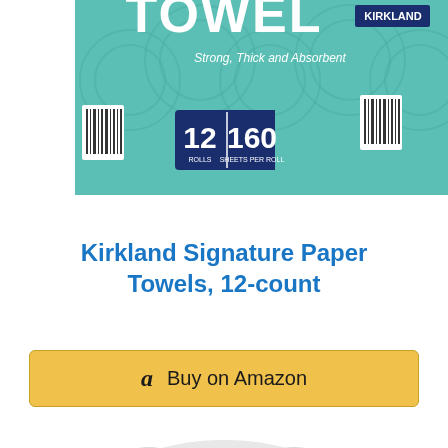[Figure (photo): Kirkland Signature paper towels box, teal/green color, showing '12 ROLLS | 160 SHEETS PER ROLL', 'Strong, Thick and Absorbent', cropped at top of page]
Kirkland Signature Paper Towels, 12-count
[Figure (other): Buy on Amazon button with Amazon logo 'a' icon, golden/yellow background]
[Figure (photo): Partial product image at the bottom of the page, light colored]